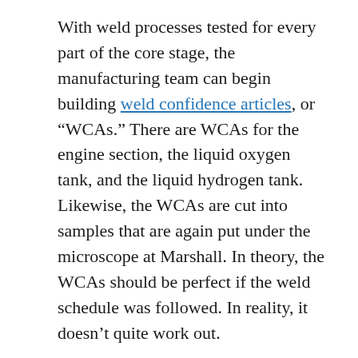With weld processes tested for every part of the core stage, the manufacturing team can begin building weld confidence articles, or “WCAs.” There are WCAs for the engine section, the liquid oxygen tank, and the liquid hydrogen tank. Likewise, the WCAs are cut into samples that are again put under the microscope at Marshall. In theory, the WCAs should be perfect if the weld schedule was followed. In reality, it doesn’t quite work out.
WCA welding consists of lots of “firsts,” Russell explained. It’s a test of the tooling and factors like parts alignment and tolerances. Heat transfer from the welds to the surrounding metal is different once large parts are clamped